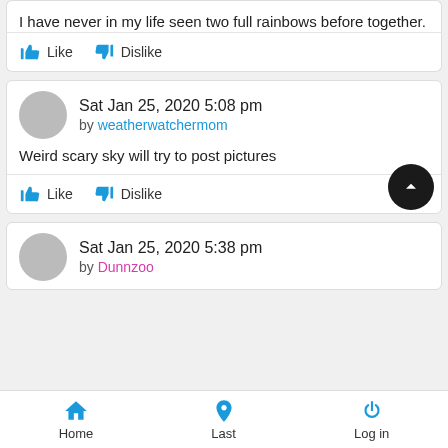I have never in my life seen two full rainbows before together.
Like   Dislike
Sat Jan 25, 2020 5:08 pm
by weatherwatchermom
Weird scary sky will try to post pictures
Like   Dislike
Sat Jan 25, 2020 5:38 pm
by Dunnzoo
Home   Last   Log in